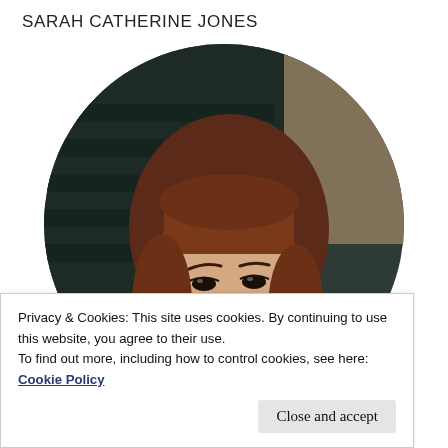SARAH CATHERINE JONES
[Figure (photo): Circular cropped portrait photo of a young woman with red/auburn hair and bangs, looking upward, in a dark indoor setting with bokeh background lighting]
Privacy & Cookies: This site uses cookies. By continuing to use this website, you agree to their use.
To find out more, including how to control cookies, see here: Cookie Policy
Close and accept